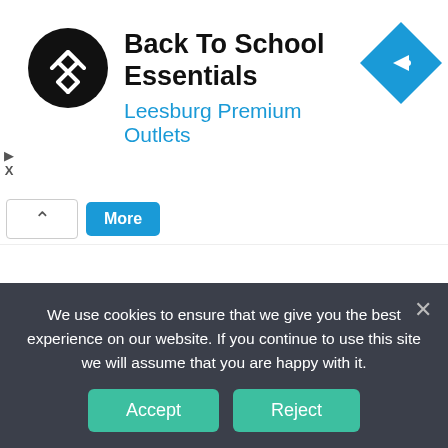[Figure (screenshot): Advertisement banner: black circular logo with double-arrow symbol, text 'Back To School Essentials' in bold black and 'Leesburg Premium Outlets' in blue, blue diamond navigation icon on right]
[Figure (screenshot): Navigation bar partial with up-arrow button and blue 'More' button]
Ariana Grande And Lady Gaga – “Rain On Me” Promo Photos May 2020
May 23, 2020
[Figure (photo): Partial top of a person's head with teal/green hair, cropped at bottom of page]
We use cookies to ensure that we give you the best experience on our website. If you continue to use this site we will assume that you are happy with it.